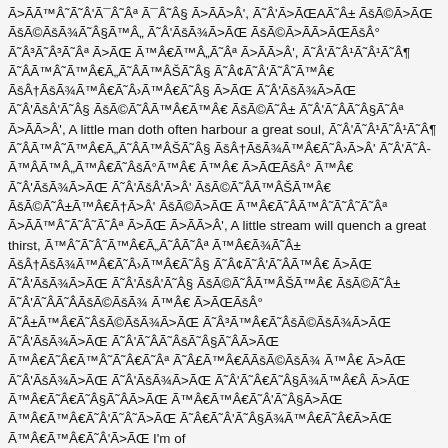Ã>ÃÃ™Â˜Ã˜Ã¯Â˜Âª Ã¯Â˜Â§ Ã>ÃÃ>Â', Ã˜Â'Ã>ÃŒAÃ˜Â± ÃšÃ©Ã>ÃŒ ÃšÃ©ÃšÃ¾Ã˜Â§Ã™Â„ Ã˜Â'ÃšÃ¾Ã>ÃŒ ÃšÃ©Ã>ÃÃ>ÃŒÃšÂ° Ã˜Â³Ã˜Â³Ã˜Âª Ã>ÃŒ Ã™Â€Ã™Â„Ã˜Âª Ã>ÃÃ>Â', Ã˜Â'Ã˜Â¹Ã˜Â¹Ã˜Â¶ Ã˜ÂÃ™Â˜Ã™Â€Ã„Ã˜ÂÃ™ÂŠÃ˜Â§ ÃšÂ†ÃšÃ¾Ã™Â€Ã˜Â›Ã™Â€Ã˜Â§ Ã>ÃŒ Ã˜Â'ÃšÃ¾Ã>ÃŒ Ã˜Â'ÃšÂ'Ã˜Â§ ÃšÃ©Ã˜ÂÃ™Â€Ã™Â€ ÃšÃ©Ã˜Â± Ã˜Â'Ã˜ÂÃ˜Â§Ã˜Âª Ã>ÃÃ>Â', A little man doth often harbour a great soul, Ã˜Â'Ã˜Â¹Ã˜Â¹Ã˜Â¶ Ã˜ÂÃ™Â˜Ã™Â€Ã„Ã˜ÂÃ™ÂŠÃ˜Â§ ÃšÂ†ÃšÃ¾Ã™Â€Ã˜Â›Ã>Â' Ã˜Â'Ã˜Â­Ã™ÂÃ™Â„Ã™Â€Ã˜ÂšÃ°Ã™Â€ Ã™Â€ Ã>ÃŒÃšÂ° Ã™Â€ Ã˜Â'ÃšÃ¾Ã>ÃŒ Ã˜Â'ÃšÂ'Ã>Â' ÃšÃ©Ã˜ÂÃ™ÂŠÃ™Â€ ÃšÃ©Ã˜Â±Ã™Â€Ã†Ã>Â' ÃšÃ©Ã>ÃŒ Ã™Â€Ã˜ÂÃ™Â˜Ã˜Â˜Ã˜Âª Ã>ÃÃ™Â˜Ã˜Â˜Ã˜Âª Ã>ÃŒ Ã>ÃÃ>Â', A little stream will quench a great thirst, Ã™Â˜Ã˜Â˜Ã™Â€Ã„Ã˜ÂÃ˜Âª Ã™Â€Ã¾Ã˜Â± ÃšÂ†ÃšÃ¾Ã™Â€Ã˜Â›Ã™Â€Ã˜Â§ Ã˜Â¢Ã˜Â'Ã˜Â­Ã™Â€ Ã>ÃŒ Ã˜Â'ÃšÃ¾Ã>ÃŒ Ã˜Â'ÃšÂ'Ã˜Â§ ÃšÃ©Ã˜ÂÃ™ÂŠÃ™Â€ ÃšÃ©Ã˜Â± Ã˜Â'Ã˜ÂÃ˜ÂÃšÃ©ÃšÃ¾ Ã™Â€ Ã>ÃŒÃšÂ° Ã˜Â±Ã™Â€Ã˜ÂšÃ©ÃšÃ¾Ã>ÃŒ Ã˜Â³Ã™Â€Ã˜ÂÃšÃ©ÃšÃ¾Ã>ÃŒ Ã˜Â'ÃšÃ¾Ã>ÃŒ Ã˜Â'Ã˜ÂÃ˜ÂšÃ˜Â§Ã˜Â­Ã>ÃŒ Ã™Â€Ã˜Â€Ã™Â˜Ã˜Â€Ã˜Âª Ã˜Â£Ã™Â€ÃÃšÃ©ÃšÃ¾ Ã™Â€ Ã>ÃŒ Ã˜Â'ÃšÃ¾Ã>ÃŒ Ã˜Â'ÃšÃ¾Ã>ÃŒ Ã˜Â'Ã˜Â€Ã˜Â§Ã¾Ã™Â€Â Ã>ÃŒ Ã™Â€Ã˜Â€Ã˜Â§Ã˜Â­Ã>ÃŒ Ã™Â€Ã™Â€Ã˜Â˜Ã˜Â'Ã˜Â§Ã>ÃŒ Ã™Â€Ã™Â€Ã˜Â'Ã˜Â˜Ã>ÃŒ Ã˜Â€Ã˜Â'Ã˜Â§Ã¾Ã™Â€Ã˜Â€Ã>ÃŒ Ã™Â€Ã™Â€Ã˜Â'Ã>ÃŒ I'm of